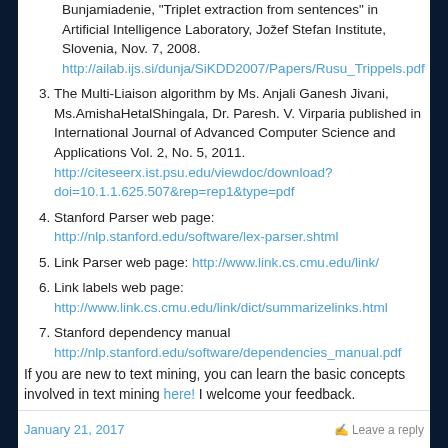Bunjamiadenie, "Triplet extraction from sentences" in Artificial Intelligence Laboratory, Jožef Stefan Institute, Slovenia, Nov. 7, 2008. http://ailab.ijs.si/dunja/SiKDD2007/Papers/Rusu_Trippels.pdf
3. The Multi-Liaison algorithm by Ms. Anjali Ganesh Jivani, Ms.AmishaHetalShingala, Dr. Paresh. V. Virparia published in International Journal of Advanced Computer Science and Applications Vol. 2, No. 5, 2011. http://citeseerx.ist.psu.edu/viewdoc/download?doi=10.1.1.625.507&rep=rep1&type=pdf
4. Stanford Parser web page: http://nlp.stanford.edu/software/lex-parser.shtml
5. Link Parser web page: http://www.link.cs.cmu.edu/link/
6. Link labels web page: http://www.link.cs.cmu.edu/link/dict/summarizelinks.html
7. Stanford dependency manual http://nlp.stanford.edu/software/dependencies_manual.pdf
If you are new to text mining, you can learn the basic concepts involved in text mining here! I welcome your feedback.
January 21, 2017    Leave a reply